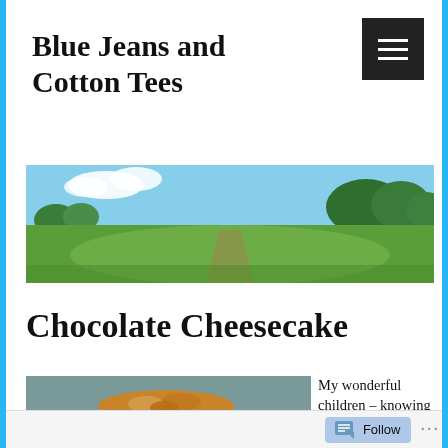Blue Jeans and Cotton Tees
[Figure (photo): Panoramic landscape photo showing green fields, blue sky with clouds, and trees]
Chocolate Cheesecake
[Figure (photo): Close-up photo of a slice of chocolate cheesecake on a plate]
My wonderful children – knowing
Follow ...